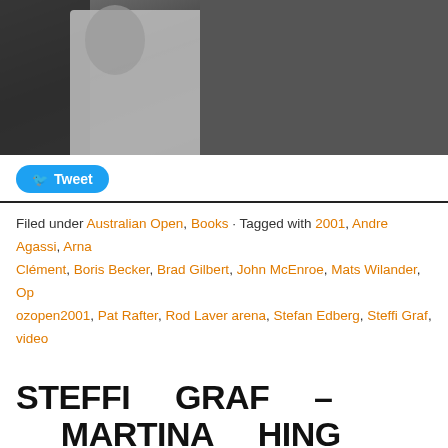[Figure (photo): Dark photo showing figures, appears to be people at a tennis event, partially cropped]
Tweet
Filed under Australian Open, Books · Tagged with 2001, Andre Agassi, Arnaud Clément, Boris Becker, Brad Gilbert, John McEnroe, Mats Wilander, Op… ozopen2001, Pat Rafter, Rod Laver arena, Stefan Edberg, Steffi Graf, video
STEFFI GRAF – MARTINA HИНГIS – ROLAND GARROS 1999
January 3, 2011 · 4 Comments
Steffi's last Grand Slam win: Graf defeats Hingis 4-6, 7-5…